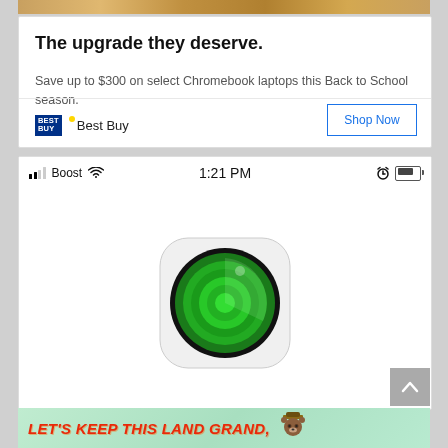[Figure (screenshot): Top portion of colorful photo (cropped)]
The upgrade they deserve.
Save up to $300 on select Chromebook laptops this Back to School season.
[Figure (logo): Best Buy logo]
Best Buy
Shop Now
[Figure (screenshot): iPhone status bar showing Boost carrier, 1:21 PM time, and battery indicator with Find My iPhone app icon below]
[Figure (screenshot): Bottom advertisement banner: LET'S KEEP THIS LAND GRAND. with Smokey Bear mascot]